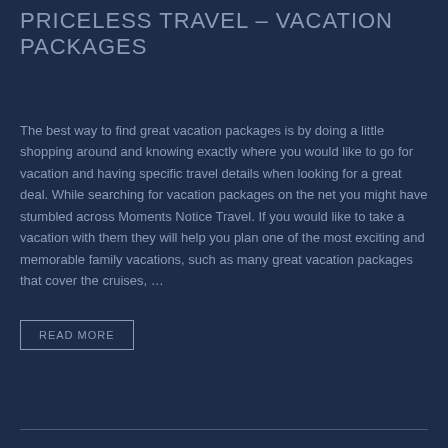PRICELESS TRAVEL – VACATION PACKAGES
The best way to find great vacation packages is by doing a little shopping around and knowing exactly where you would like to go for vacation and having specific travel details when looking for a great deal. While searching for vacation packages on the net you might have stumbled across Moments Notice Travel. If you would like to take a vacation with them they will help you plan one of the most exciting and memorable family vacations, such as many great vacation packages that cover the cruises, …